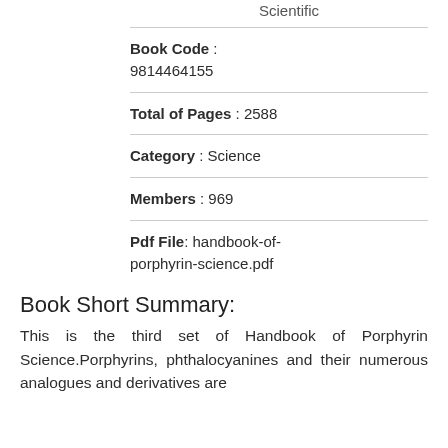Scientific
Book Code : 9814464155
Total of Pages : 2588
Category : Science
Members : 969
Pdf File: handbook-of-porphyrin-science.pdf
Book Short Summary:
This is the third set of Handbook of Porphyrin Science.Porphyrins, phthalocyanines and their numerous analogues and derivatives are